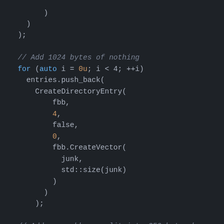Code snippet showing C++ loop with CreateDirectoryEntry and CreateVector calls, followed by a comment and another for loop.